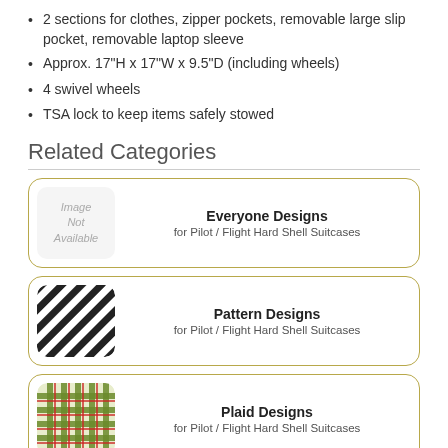2 sections for clothes, zipper pockets, removable large slip pocket, removable laptop sleeve
Approx. 17"H x 17"W x 9.5"D (including wheels)
4 swivel wheels
TSA lock to keep items safely stowed
Related Categories
[Figure (other): Card with 'Image Not Available' placeholder for Everyone Designs category]
Everyone Designs
for Pilot / Flight Hard Shell Suitcases
[Figure (illustration): Card with diagonal stripes pattern thumbnail for Pattern Designs category]
Pattern Designs
for Pilot / Flight Hard Shell Suitcases
[Figure (illustration): Card with plaid/tartan pattern thumbnail for Plaid Designs category]
Plaid Designs
for Pilot / Flight Hard Shell Suitcases